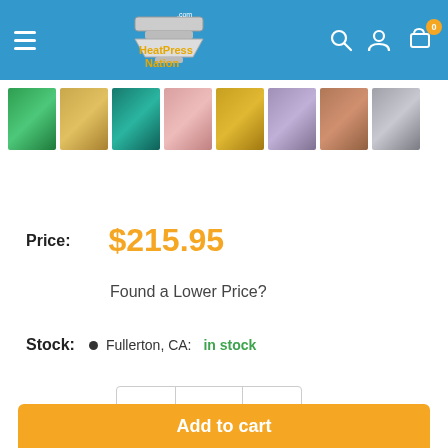HeatPressNation.com
[Figure (photo): Color fabric swatches: green, gold, teal, pink, yellow, lavender, copper, silver]
Price: $215.95
Found a Lower Price?
Stock: Fullerton, CA: in stock
Quantity: 1
Add to cart